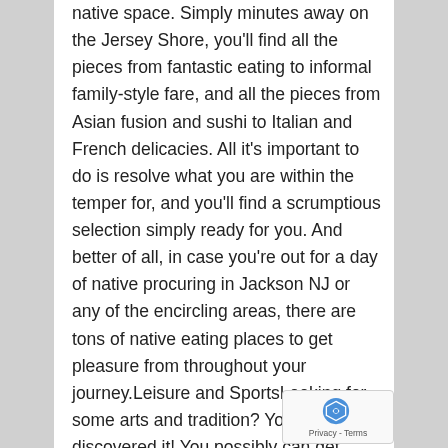native space. Simply minutes away on the Jersey Shore, you'll find all the pieces from fantastic eating to informal family-style fare, and all the pieces from Asian fusion and sushi to Italian and French delicacies. All it's important to do is resolve what you are within the temper for, and you'll find a scrumptious selection simply ready for you. And better of all, in case you're out for a day of native procuring in Jackson NJ or any of the encircling areas, there are tons of native eating places to get pleasure from throughout your journey.Leisure and SportsLooking for some arts and tradition? You discovered it! You possibly can get pleasure from year-round leisure and sports activities close by that rival the New York scene any day! From Purple